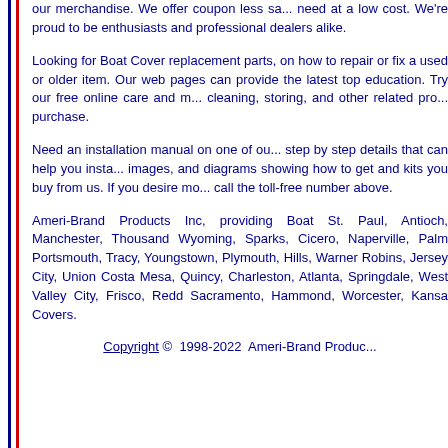our merchandise. We offer coupon less sa... need at a low cost. We're proud to be enthusiasts and professional dealers alike.
Looking for Boat Cover replacement parts, on how to repair or fix a used or older item. Our web pages can provide the latest top education. Try our free online care and m... cleaning, storing, and other related pro... purchase.
Need an installation manual on one of ou... step by step details that can help you insta... images, and diagrams showing how to get and kits you buy from us. If you desire mo... call the toll-free number above.
Ameri-Brand Products Inc, providing Boat St. Paul, Antioch, Manchester, Thousand Wyoming, Sparks, Cicero, Naperville, Palm Portsmouth, Tracy, Youngstown, Plymouth, Hills, Warner Robins, Jersey City, Union Costa Mesa, Quincy, Charleston, Atlanta, Springdale, West Valley City, Frisco, Redd Sacramento, Hammond, Worcester, Kansa Covers.
Copyright © 1998-2022 Ameri-Brand Produc...